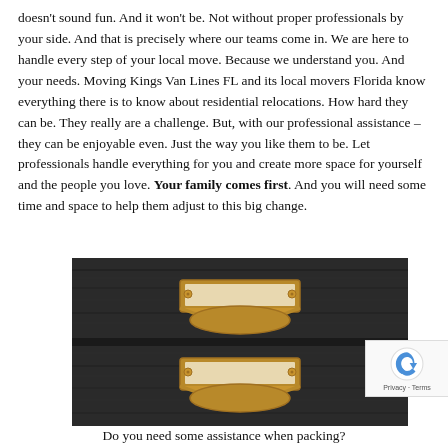doesn't sound fun. And it won't be. Not without proper professionals by your side. And that is precisely where our teams come in. We are here to handle every step of your local move. Because we understand you. And your needs. Moving Kings Van Lines FL and its local movers Florida know everything there is to know about residential relocations. How hard they can be. They really are a challenge. But, with our professional assistance – they can be enjoyable even. Just the way you like them to be. Let professionals handle everything for you and create more space for yourself and the people you love. Your family comes first. And you will need some time and space to help them adjust to this big change.
[Figure (photo): Close-up photo of dark wooden file cabinet drawers with gold/brass label holder hardware, two drawers visible]
Do you need some assistance when packing?